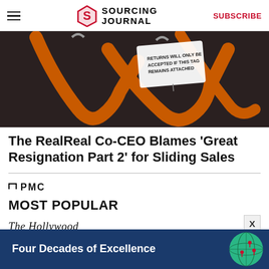SOURCING JOURNAL  SUBSCRIBE
[Figure (photo): Close-up photo of orange clothing hangers with a return policy tag that reads 'RETURNS WILL ONLY BE ACCEPTED IF THIS TAG REMAINS ATTACHED']
The RealReal Co-CEO Blames 'Great Resignation Part 2' for Sliding Sales
[Figure (logo): PMC logo in black]
MOST POPULAR
[Figure (logo): The Hollywood Reporter logo in italic serif font]
1. Marvel Suing to Keep Rights to 'Avengers' Characters From Copyright Termination
[Figure (photo): Advertisement banner: 'Four Decades of Excellence' with a globe graphic on blue background]